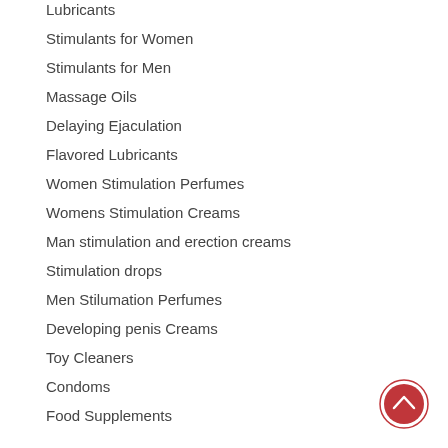Lubricants
Stimulants for Women
Stimulants for Men
Massage Oils
Delaying Ejaculation
Flavored Lubricants
Women Stimulation Perfumes
Womens Stimulation Creams
Man stimulation and erection creams
Stimulation drops
Men Stilumation Perfumes
Developing penis Creams
Toy Cleaners
Condoms
Food Supplements